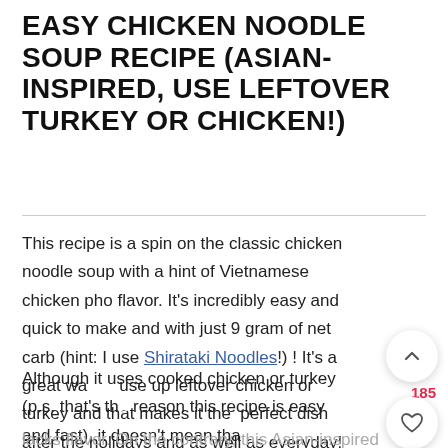EASY CHICKEN NOODLE SOUP RECIPE (ASIAN-INSPIRED, USE LEFTOVER TURKEY OR CHICKEN!)
This recipe is a spin on the classic chicken noodle soup with a hint of Vietnamese chicken pho flavor. It's incredibly easy and quick to make and with just 9 gram of net carb (hint: I use Shirataki Noodles!) ! It's a great way to use up leftover chicken or turkey and that makes it the perfect dish after the holidays and as well as everyday!
Although it uses cooked chicken or turkey (p.s. that's the reason this recipe is easy and fast), it doesn't mean that it lacks flavor. On the contrary, this Asian-inspired chicken noodle soup yields the most flavorful, light, and airy stock